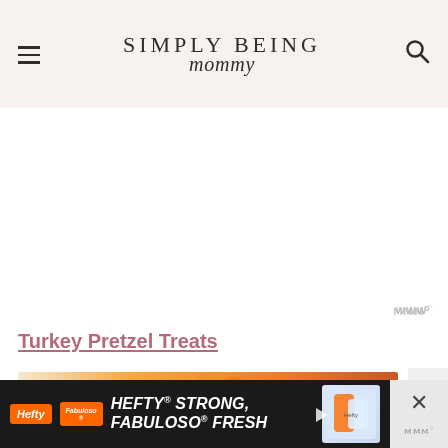SIMPLY BEING mommy
Turkey Pretzel Treats
[Figure (photo): Partial view of a turkey pretzel treat food item with orange coloring, beginning to show at the bottom of the content area]
[Figure (screenshot): Hefty brand advertisement banner at bottom: HEFTY STRONG, FABULOSO FRESH with product imagery on dark background]